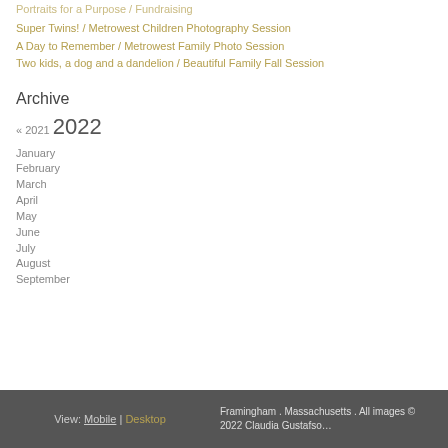Portraits for a Purpose / Fundraising
Super Twins! / Metrowest Children Photography Session
A Day to Remember / Metrowest Family Photo Session
Two kids, a dog and a dandelion / Beautiful Family Fall Session
Archive
« 2021  2022
January
February
March
April
May
June
July
August
September
View: Mobile | Desktop    Framingham . Massachusetts . All images © 2022 Claudia Gustafso…